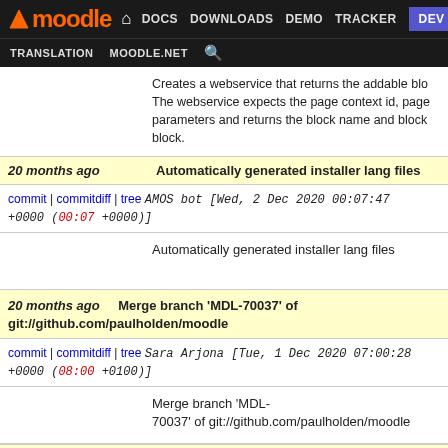moodle DOCS DOWNLOADS DEMO TRACKER DEV TRANSLATION MOODLE.NET
Creates a webservice that returns the addable blo... The webservice expects the page context id, page parameters and returns the block name and block... block.
20 months ago  Automatically generated installer lang files
commit | commitdiff | tree  AMOS bot [Wed, 2 Dec 2020 00:07:47 +0000 (00:07 +0000)]
Automatically generated installer lang files
20 months ago  Merge branch 'MDL-70037' of git://github.com/paulholden/moodle
commit | commitdiff | tree  Sara Arjona [Tue, 1 Dec 2020 07:00:28 +0000 (08:00 +0100)]
Merge branch 'MDL-70037' of git://github.com/paulholden/moodle
20 months ago  Automatically generated installer lang files